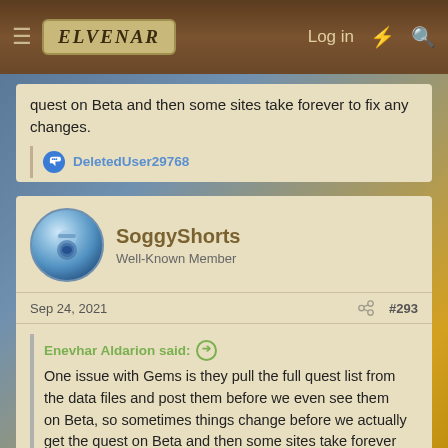Elvenar | Log in
quest on Beta and then some sites take forever to fix any changes.
DeletedUser29768
SoggyShorts
Well-Known Member
Sep 24, 2021
#293
Enevhar Aldarion said:
One issue with Gems is they pull the full quest list from the data files and post them before we even see them on Beta, so sometimes things change before we actually get the quest on Beta and then some sites take forever to fix any changes.
This was a huge advantage back before the quests went all brain-dead. I used to peek at Gems before events started on beta and prep accordingly, but now every event needs the same stuff so no additional prep is needed.